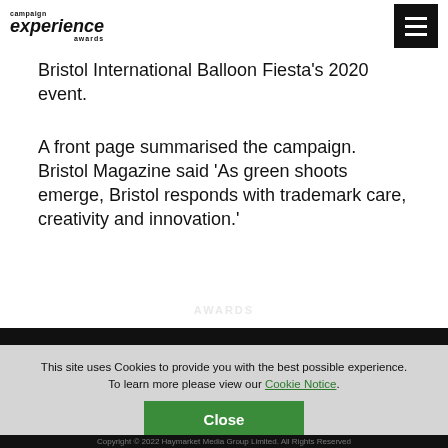campaign experience awards
Bristol International Balloon Fiesta's 2020 event.
A front page summarised the campaign. Bristol Magazine said 'As green shoots emerge, Bristol responds with trademark care, creativity and innovation.'
This site uses Cookies to provide you with the best possible experience. To learn more please view our Cookie Notice.
Copyright © 2022 Haymarket Media Group Limited. All Rights Reserved